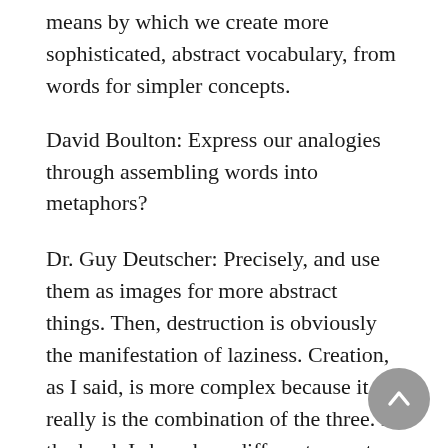means by which we create more sophisticated, abstract vocabulary, from words for simpler concepts.
David Boulton: Express our analogies through assembling words into metaphors?
Dr. Guy Deutscher: Precisely, and use them as images for more abstract things. Then, destruction is obviously the manifestation of laziness. Creation, as I said, is more complex because it really is the combination of the three. In the book I show how different aspects of creation are achieved through the three forces combining together. For example, expressiveness creates new, longer expressions, and then, erosion or